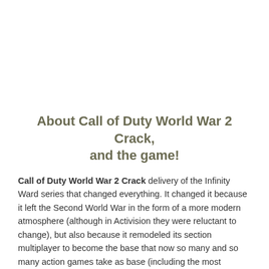About Call of Duty World War 2 Crack, and the game!
Call of Duty World War 2 Crack delivery of the Infinity Ward series that changed everything. It changed it because it left the Second World War in the form of a more modern atmosphere (although in Activision they were reluctant to change), but also because it remodeled its section multiplayer to become the base that now so many and so many action games take as base (including the most modern deliveries of this same series). You've been nine years since you went to the market, but Infinity Ward and Raven Software bring him